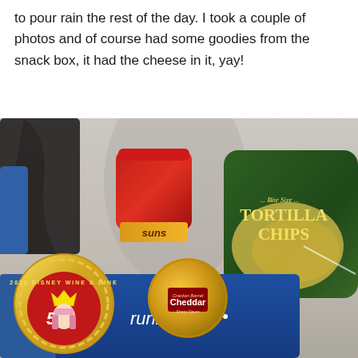to pour rain the rest of the day. I took a couple of photos and of course had some goodies from the snack box, it had the cheese in it, yay!
[Figure (photo): Photo of a runDisney 2021 Disney Wine & Dine 5K race medal featuring the Queen of Hearts character, alongside snack items including a Suns brand snack, a Cheddar cheese round, and a bag of Bite Size Tortilla Chips, all arranged on a blue runDisney branded bag.]